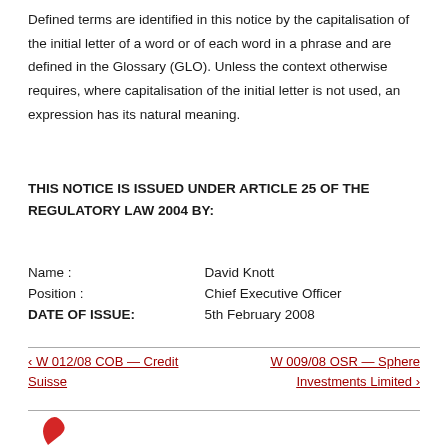Defined terms are identified in this notice by the capitalisation of the initial letter of a word or of each word in a phrase and are defined in the Glossary (GLO). Unless the context otherwise requires, where capitalisation of the initial letter is not used, an expression has its natural meaning.
THIS NOTICE IS ISSUED UNDER ARTICLE 25 OF THE REGULATORY LAW 2004 BY:
| Field | Value |
| --- | --- |
| Name : | David Knott |
| Position : | Chief Executive Officer |
| DATE OF ISSUE: | 5th February 2008 |
‹ W 012/08 COB — Credit Suisse
W 009/08 OSR — Sphere Investments Limited ›